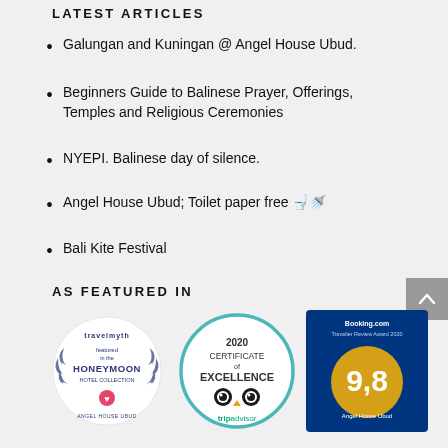LATEST ARTICLES
Galungan and Kuningan @ Angel House Ubud.
Beginners Guide to Balinese Prayer, Offerings, Temples and Religious Ceremonies
NYEPI. Balinese day of silence.
Angel House Ubud; Toilet paper free 🚽🚿
Bali Kite Festival
AS FEATURED IN
[Figure (logo): Travelmyth Featured in the Honeymoon Hotel Collection - Angel House Ubud badge]
[Figure (logo): TripAdvisor 2020 Certificate of Excellence badge]
[Figure (logo): Booking.com Traveller Review Award 2020 badge showing 9.8 score for Angel House Ubud]